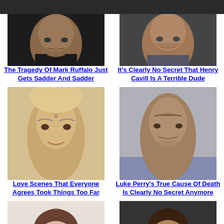[Figure (photo): Photo of Mark Ruffalo, cropped face]
The Tragedy Of Mark Ruffalo Just Gets Sadder And Sadder
[Figure (photo): Photo of Henry Cavill, cropped face]
It's Clearly No Secret That Henry Cavill Is A Terrible Dude
[Figure (photo): Photo of woman for Love Scenes article]
Love Scenes That Everyone Agrees Took Things Too Far
[Figure (photo): Photo of Luke Perry]
Luke Perry's True Cause Of Death Is Clearly No Secret Anymore
[Figure (photo): Photo of Alyson Hannigan]
It's No Wonder Hollywood Won't Cast Alyson Hannigan
[Figure (photo): Photo of Ashton Kutcher]
The Tragedy Of Ashton Kutcher Is Just Plain Sad